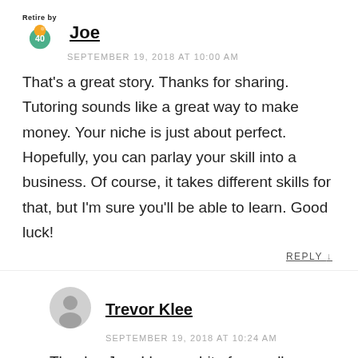[Figure (logo): Retire by 40 logo with sun and earth icon]
Joe
SEPTEMBER 19, 2018 AT 10:00 AM
That's a great story. Thanks for sharing. Tutoring sounds like a great way to make money. Your niche is just about perfect. Hopefully, you can parlay your skill into a business. Of course, it takes different skills for that, but I'm sure you'll be able to learn. Good luck!
REPLY ↓
[Figure (illustration): Generic user avatar icon (gray circular person silhouette)]
Trevor Klee
SEPTEMBER 19, 2018 AT 10:24 AM
Thanks, Joe. I have a bit of a small business